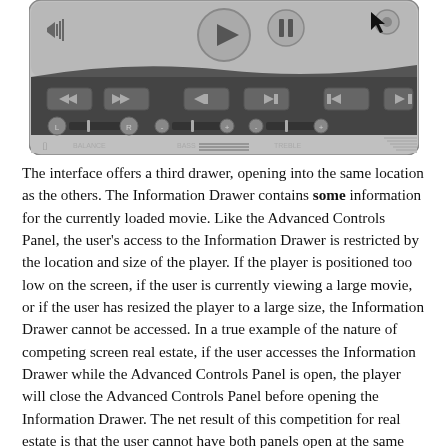[Figure (screenshot): Screenshot of a media player interface showing playback controls, balance, bass, and treble sliders with play/pause buttons and transport controls.]
The interface offers a third drawer, opening into the same location as the others. The Information Drawer contains some information for the currently loaded movie. Like the Advanced Controls Panel, the user's access to the Information Drawer is restricted by the location and size of the player. If the player is positioned too low on the screen, if the user is currently viewing a large movie, or if the user has resized the player to a large size, the Information Drawer cannot be accessed. In a true example of the nature of competing screen real estate, if the user accesses the Information Drawer while the Advanced Controls Panel is open, the player will close the Advanced Controls Panel before opening the Information Drawer. The net result of this competition for real estate is that the user cannot have both panels open at the same time. Moreover, the user will